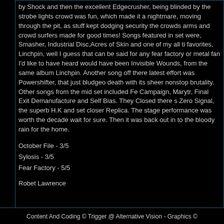by Shock and then the excellent Edgecrusher, being blinded by the strobe lights crowd was fun, which made it a nightmare, moving through the pit, as stuff kept dodging security the crowds arms and crowd surfers made for good times! Songs featured in set were, Smasher, Industrial Disc,Acres of Skin and one of my all ti favorites, Linchpin, well I guess that can be said for any fear factory or metal fan I'd like to have heard would have been Invisible Wounds, from the same album Linchpin. Another song off there latest effort was Powershifter, that just bludgeo death with its sheer nonstop brutality. Other songs from the mid set included Fe Campaign, Marytr, Final Exit Demanufacture and Self Bias. They Closed there s Zero Signal, the superb H.K and set closer Replica. The stage performance was worth the decade wait for sure. Then it was back out in to the bloody rain for the home.
October File - 3/5
Sylosis - 3/5
Fear Factory - 5/5
Robet Lawrence
Content And Coding © Trigger @ Alternative Vision - Graphics ©